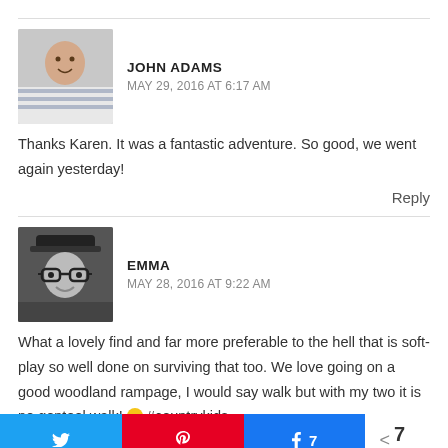[Figure (photo): Avatar photo of John Adams – man in striped shirt]
JOHN ADAMS
MAY 29, 2016 AT 6:17 AM
Thanks Karen. It was a fantastic adventure. So good, we went again yesterday!
Reply
[Figure (photo): Avatar photo of Emma – woman with glasses, black and white]
EMMA
MAY 28, 2016 AT 9:22 AM
What a lovely find and far more preferable to the hell that is soft-play so well done on surviving that too. We love going on a good woodland rampage, I would say walk but with my two it is no genteel walk! 🙂 #countrykids